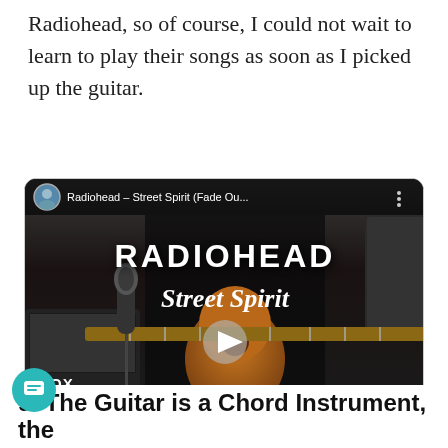Radiohead, so of course, I could not wait to learn to play their songs as soon as I picked up the guitar.
[Figure (screenshot): YouTube video thumbnail/player for Radiohead – Street Spirit (Fade Out). Shows a person playing acoustic guitar in front of VOX amplifier, with 'RADIOHEAD' and 'Street Spirit' text overlaid, a play button in the center, and the video title bar at top.]
9. The Guitar is a Chord Instrument, the